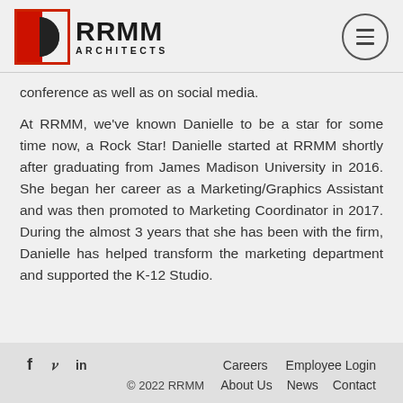[Figure (logo): RRMM Architects logo with red and black geometric square icon and text 'RRMM ARCHITECTS']
conference as well as on social media.
At RRMM, we've known Danielle to be a star for some time now, a Rock Star! Danielle started at RRMM shortly after graduating from James Madison University in 2016. She began her career as a Marketing/Graphics Assistant and was then promoted to Marketing Coordinator in 2017. During the almost 3 years that she has been with the firm, Danielle has helped transform the marketing department and supported the K-12 Studio.
f  ✓  in    Careers   Employee Login
© 2022 RRMM   About Us   News   Contact